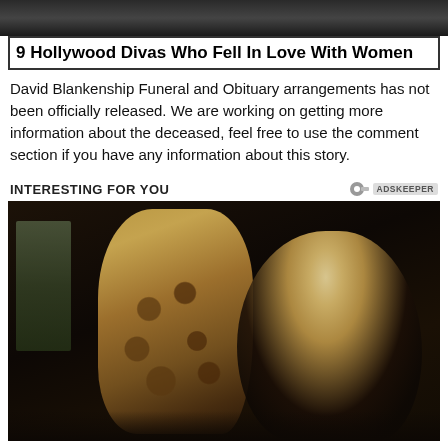[Figure (photo): Top portion of a partially visible image (cropped at top of page)]
9 Hollywood Divas Who Fell In Love With Women
David Blankenship Funeral and Obituary arrangements has not been officially released. We are working on getting more information about the deceased, feel free to use the comment section if you have any information about this story.
INTERESTING FOR YOU
[Figure (photo): A large spotted cat (resembling a leopard or savannah cat) standing upright on its hind legs facing a blonde woman in a dark outfit who is looking up at the cat admiringly, in a home interior setting]
Its Leopard-like Appearance Makes It A Desired